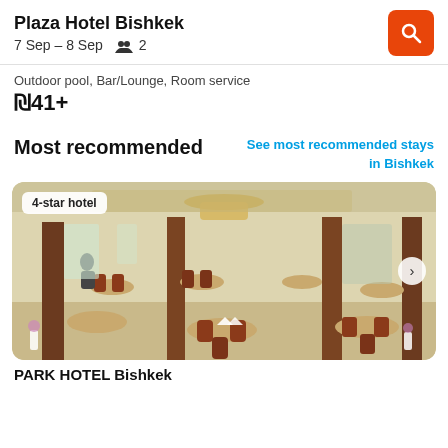Plaza Hotel Bishkek
7 Sep – 8 Sep   👥 2
Outdoor pool, Bar/Lounge, Room service
₪41+
Most recommended
See most recommended stays in Bishkek
[Figure (photo): Interior of a hotel restaurant with chandeliers, wooden columns, round tables with chairs and white napkins. Badge reading '4-star hotel'.]
PARK HOTEL Bishkek